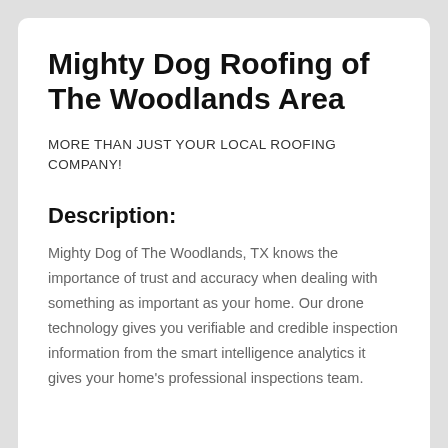Mighty Dog Roofing of The Woodlands Area
MORE THAN JUST YOUR LOCAL ROOFING COMPANY!
Description:
Mighty Dog of The Woodlands, TX knows the importance of trust and accuracy when dealing with something as important as your home. Our drone technology gives you verifiable and credible inspection information from the smart intelligence analytics it gives your home's professional inspections team.